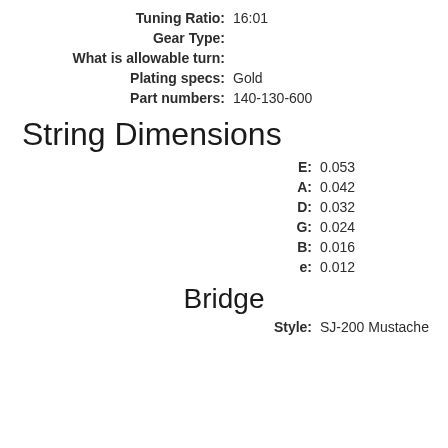Tuning Ratio: 16:01
Gear Type:
What is allowable turn:
Plating specs: Gold
Part numbers: 140-130-600
String Dimensions
E: 0.053
A: 0.042
D: 0.032
G: 0.024
B: 0.016
e: 0.012
Bridge
Style: SJ-200 Mustache